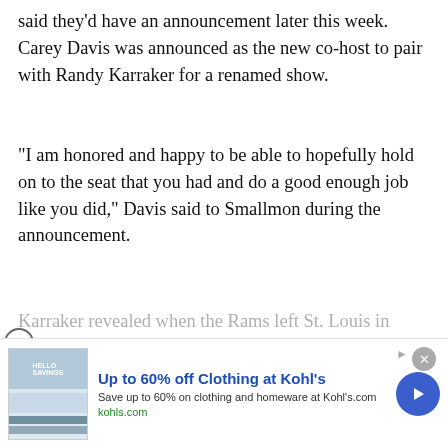said they'd have an announcement later this week. Carey Davis was announced as the new co-host to pair with Randy Karraker for a renamed show.
“I am honored and happy to be able to hopefully hold on to the seat that you had and do a good enough job like you did,” Davis said to Smallmon during the announcement.
Karraker revealed when the Rams left St. Louis in 2016 and Demarco Farr departed the station, he lobbied for
[Figure (screenshot): BSM Media Noise podcast widget with play button and photos]
CONTINUE READING
[Figure (screenshot): Kohl's advertisement banner: Up to 60% off Clothing at Kohl's. Save up to 60% on clothing and homeware at Kohl's.com. kohls.com]